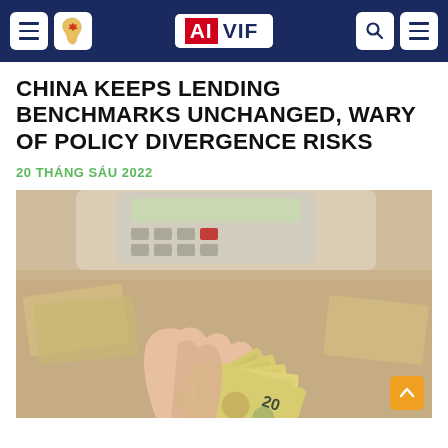AIVIF
CHINA KEEPS LENDING BENCHMARKS UNCHANGED, WARY OF POLICY DIVERGENCE RISKS
20 THÁNG SÁU 2022
[Figure (photo): Person holding a fan of Chinese 20 yuan banknotes with a calculator visible in the background]